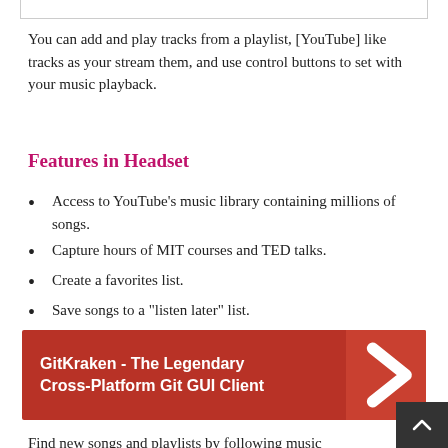You can add and play tracks from a playlist, [YouTube] like tracks as your stream them, and use control buttons to set with your music playback.
Features in Headset
Access to YouTube's music library containing millions of songs.
Capture hours of MIT courses and TED talks.
Create a favorites list.
Save songs to a "listen later" list.
[Figure (infographic): Red banner advertisement for GitKraken - The Legendary Cross-Platform Git GUI Client with a right-pointing chevron arrow on the right side]
Find new songs and playlists by following music subreddits with over 80 different stations